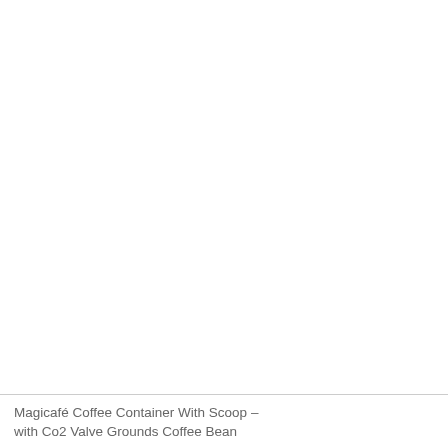[Figure (photo): White/blank image area showing a product photo placeholder for Magicafé Coffee Container With Scoop]
Magicafé Coffee Container With Scoop – with Co2 Valve Grounds Coffee Bean